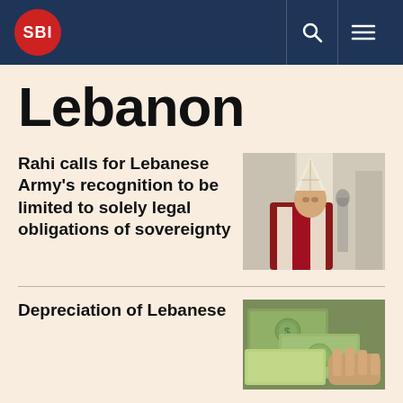SBI
Lebanon
Rahi calls for Lebanese Army's recognition to be limited to solely legal obligations of sovereignty
[Figure (photo): Photo of a Catholic bishop or Patriarch wearing a white miter and red vestments, standing at a podium]
Depreciation of Lebanese